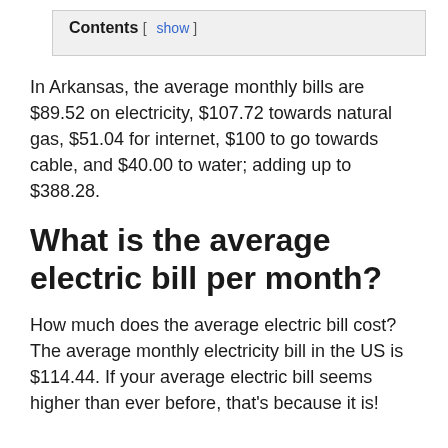Contents [ show ]
In Arkansas, the average monthly bills are $89.52 on electricity, $107.72 towards natural gas, $51.04 for internet, $100 to go towards cable, and $40.00 to water; adding up to $388.28.
What is the average electric bill per month?
How much does the average electric bill cost? The average monthly electricity bill in the US is $114.44. If your average electric bill seems higher than ever before, that’s because it is!